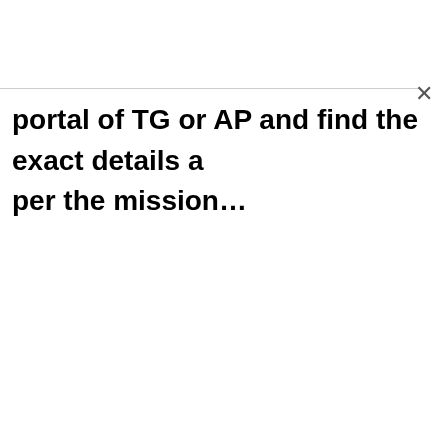portal of TG or AP and find the exact details as per the mission…